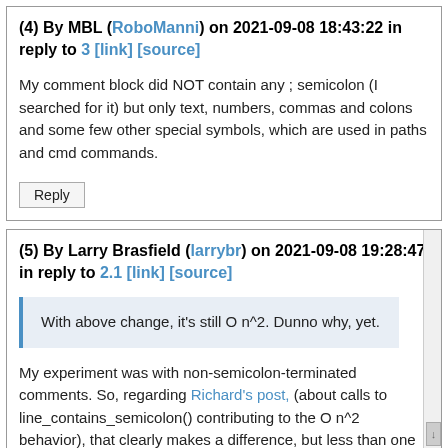(4) By MBL (RoboManni) on 2021-09-08 18:43:22 in reply to 3 [link] [source]
My comment block did NOT contain any ; semicolon (I searched for it) but only text, numbers, commas and colons and some few other special symbols, which are used in paths and cmd commands.
(5) By Larry Brasfield (larrybr) on 2021-09-08 19:28:47 in reply to 2.1 [link] [source]
With above change, it's still O n^2. Dunno why, yet.
My experiment was with non-semicolon-terminated comments. So, regarding Richard's post, (about calls to line_contains_semicolon() contributing to the O n^2 behavior), that clearly makes a difference, but less than one